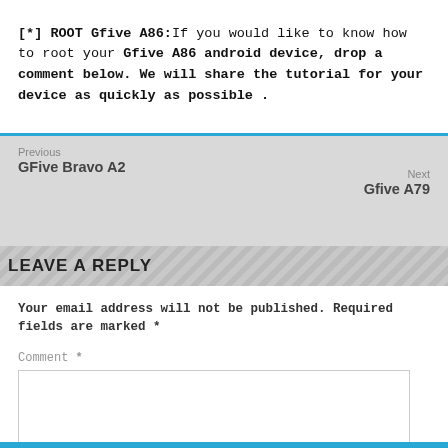[*] ROOT Gfive A86: If you would like to know how to root your Gfive A86 android device, drop a comment below. We will share the tutorial for your device as quickly as possible .
Previous
GFive Bravo A2
Next
Gfive A79
LEAVE A REPLY
Your email address will not be published. Required fields are marked *
Comment *